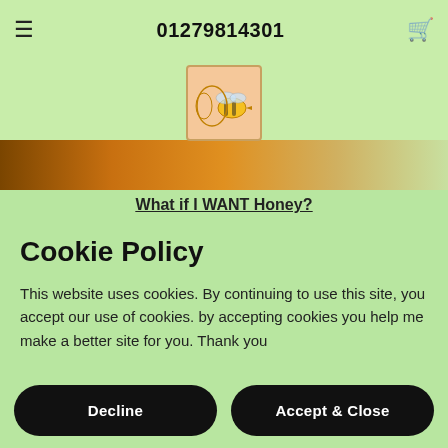≡  01279814301  🛒
[Figure (logo): Bee logo with honeycomb background image strip]
What if I WANT Honey?
Cookie Policy
This website uses cookies. By continuing to use this site, you accept our use of cookies. by accepting cookies you help me make a better site for you. Thank you
Decline | Accept & Close